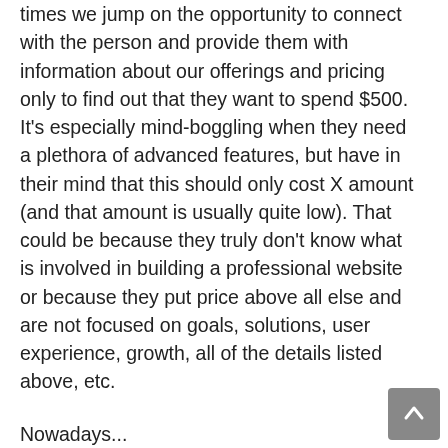times we jump on the opportunity to connect with the person and provide them with information about our offerings and pricing only to find out that they want to spend $500. It's especially mind-boggling when they need a plethora of advanced features, but have in their mind that this should only cost X amount (and that amount is usually quite low). That could be because they truly don't know what is involved in building a professional website or because they put price above all else and are not focused on goals, solutions, user experience, growth, all of the details listed above, etc.
Nowadays...